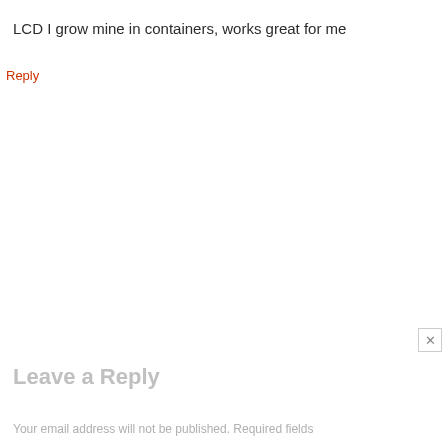LCD I grow mine in containers, works great for me
Reply
Leave a Reply
Your email address will not be published. Required fields